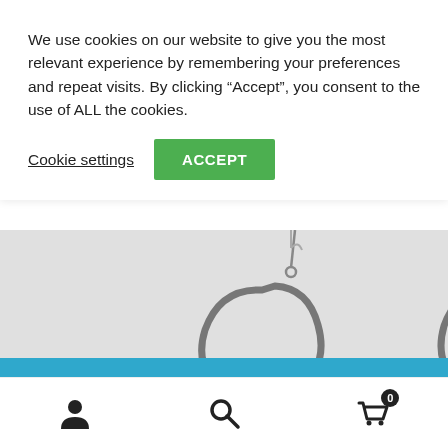We use cookies on our website to give you the most relevant experience by remembering your preferences and repeat visits. By clicking “Accept”, you consent to the use of ALL the cookies.
Cookie settings | ACCEPT
[Figure (photo): Close-up photo of two silver hoop earrings with arch/teardrop shape against a light gray background]
ℹ ••• US orders ship from Blaine, WA, USA ••• CAN orders ship from Vancouver, BC
Dismiss
User icon | Search icon | Cart icon (0)